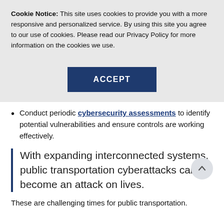Cookie Notice: This site uses cookies to provide you with a more responsive and personalized service. By using this site you agree to our use of cookies. Please read our Privacy Policy for more information on the cookies we use.
[Figure (other): ACCEPT button in dark navy blue]
Conduct periodic cybersecurity assessments to identify potential vulnerabilities and ensure controls are working effectively.
With expanding interconnected systems, public transportation cyberattacks can become an attack on lives.
These are challenging times for public transportation.